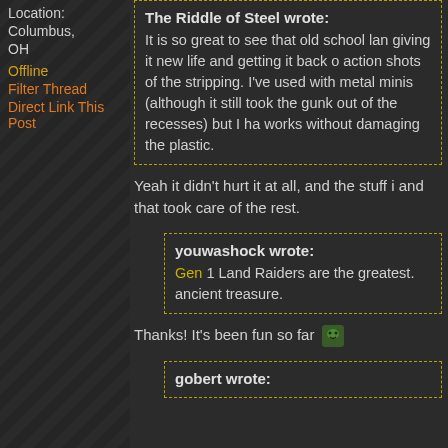Location: Columbus, OH
Offline
Filter Thread
Direct Link This Post
The Riddle of Steel wrote: It is so great to see that old school lan giving it new life and getting it back o action shots of the stripping. I've used with metal minis (although it still took the gunk out of the recesses) but I ha works without damaging the plastic.
Yeah it didn't hurt it at all, and the stuff i and that took care of the rest.
youwashock wrote: Gen 1 Land Raiders are the greatest. ancient treasure.
Thanks! It's been fun so far
gobert wrote: